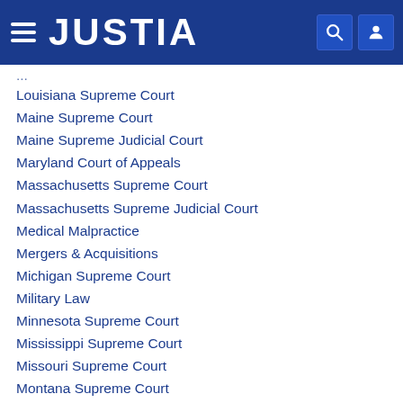JUSTIA
Louisiana Supreme Court
Maine Supreme Court
Maine Supreme Judicial Court
Maryland Court of Appeals
Massachusetts Supreme Court
Massachusetts Supreme Judicial Court
Medical Malpractice
Mergers & Acquisitions
Michigan Supreme Court
Military Law
Minnesota Supreme Court
Mississippi Supreme Court
Missouri Supreme Court
Montana Supreme Court
Native American Law
Nebraska Supreme Court
Nevada Supreme Court
New Hampshire Supreme Court
New Jersey Supreme Court